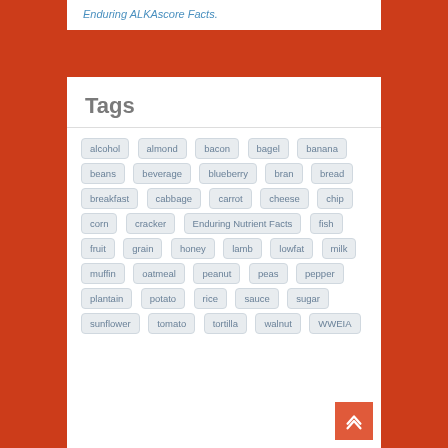Enduring ALKAscore Facts.
Tags
alcohol
almond
bacon
bagel
banana
beans
beverage
blueberry
bran
bread
breakfast
cabbage
carrot
cheese
chip
corn
cracker
Enduring Nutrient Facts
fish
fruit
grain
honey
lamb
lowfat
milk
muffin
oatmeal
peanut
peas
pepper
plantain
potato
rice
sauce
sugar
sunflower
tomato
tortilla
walnut
WWEIA